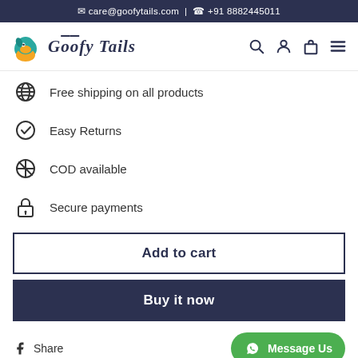care@goofytails.com | +91 8882445011
[Figure (logo): Goofy Tails logo with teal and orange dog icon and stylized italic text]
Free shipping on all products
Easy Returns
COD available
Secure payments
Add to cart
Buy it now
Share
Message Us